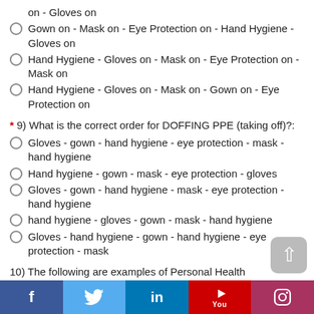on - Gloves on
Gown on - Mask on - Eye Protection on - Hand Hygiene - Gloves on
Hand Hygiene - Gloves on - Mask on - Eye Protection on - Mask on
Hand Hygiene - Gloves on - Mask on - Gown on - Eye Protection on
* 9) What is the correct order for DOFFING PPE (taking off)?:
Gloves - gown - hand hygiene - eye protection - mask - hand hygiene
Hand hygiene - gown - mask - eye protection - gloves
Gloves - gown - hand hygiene - mask - eye protection - hand hygiene
hand hygiene - gloves - gown - mask - hand hygiene
Gloves - hand hygiene - gown - hand hygiene - eye protection - mask
10) The following are examples of Personal Health Information (PHI). (Check all that apply)